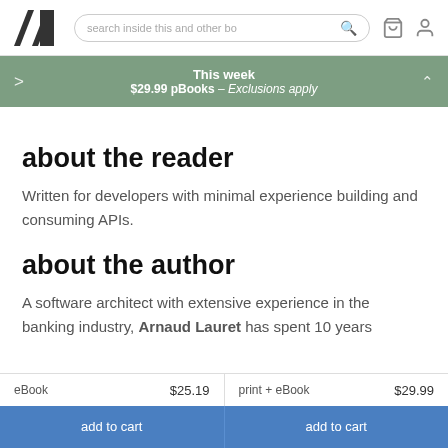[Figure (logo): Manning Publications logo — stylized M in black triangular shapes]
search inside this and other bo
This week $29.99 pBooks – Exclusions apply
about the reader
Written for developers with minimal experience building and consuming APIs.
about the author
A software architect with extensive experience in the banking industry, Arnaud Lauret has spent 10 years
eBook $25.19   print + eBook $29.99   add to cart   add to cart